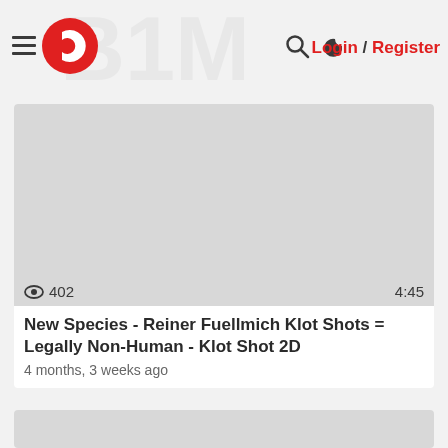Login / Register
[Figure (screenshot): Video thumbnail placeholder - light gray rectangle]
402  4:45
New Species - Reiner Fuellmich Klot Shots = Legally Non-Human - Klot Shot 2D
4 months, 3 weeks ago
[Figure (screenshot): Second video thumbnail placeholder - light gray rectangle]